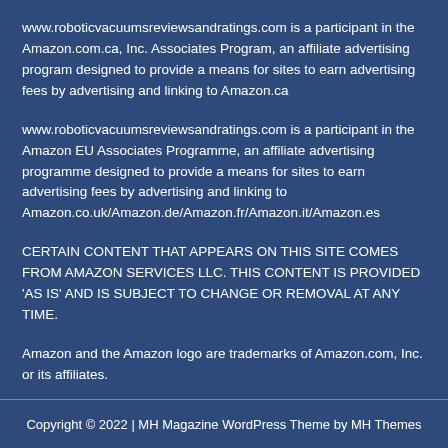www.roboticvacuumsreviewsandratings.com is a participant in the Amazon.com.ca, Inc. Associates Program, an affiliate advertising program designed to provide a means for sites to earn advertising fees by advertising and linking to Amazon.ca
www.roboticvacuumsreviewsandratings.com is a participant in the Amazon EU Associates Programme, an affiliate advertising programme designed to provide a means for sites to earn advertising fees by advertising and linking to Amazon.co.uk/Amazon.de/Amazon.fr/Amazon.it/Amazon.es
CERTAIN CONTENT THAT APPEARS ON THIS SITE COMES FROM AMAZON SERVICES LLC. THIS CONTENT IS PROVIDED 'AS IS' AND IS SUBJECT TO CHANGE OR REMOVAL AT ANY TIME.
Amazon and the Amazon logo are trademarks of Amazon.com, Inc. or its affiliates.
Copyright © 2022 | MH Magazine WordPress Theme by MH Themes